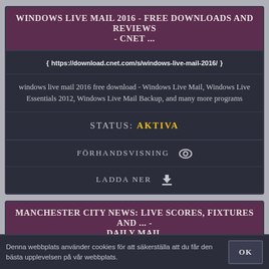WINDOWS LIVE MAIL 2016 - FREE DOWNLOADS AND REVIEWS - CNET ...
https://download.cnet.com/s/windows-live-mail-2016/
windows live mail 2016 free download - Windows Live Mail, Windows Live Essentials 2012, Windows Live Mail Backup, and many more programs
STATUS: AKTIVA
FÖRHANDSVISNING 👁
LADDA NER ⬇
MANCHESTER CITY NEWS: LIVE SCORES, FIXTURES AND ... - DAILY MAIL
Denna webbplats använder cookies för att säkerställa att du får den bästa upplevelsen på vår webbplats.
OK